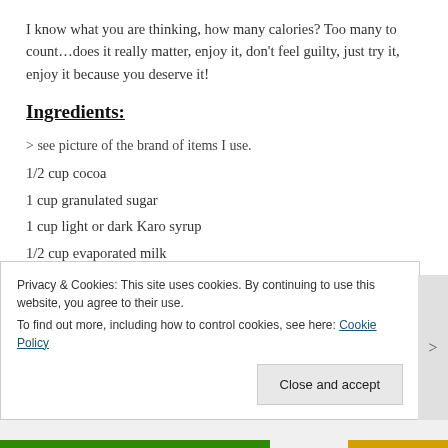I know what you are thinking, how many calories? Too many to count…does it really matter, enjoy it, don't feel guilty, just try it, enjoy it because you deserve it!
Ingredients:
> see picture of the brand of items I use.
1/2 cup cocoa
1 cup granulated sugar
1 cup light or dark Karo syrup
1/2 cup evaporated milk
1/2 tsp salt
3 tablespoons margarine, I use Land Of Lakes brand
1 tsp pure vanilla extract
**Recipe makes 20 ounces
Privacy & Cookies: This site uses cookies. By continuing to use this website, you agree to their use. To find out more, including how to control cookies, see here: Cookie Policy